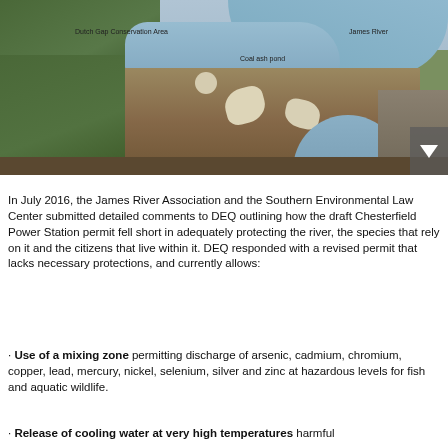[Figure (photo): Aerial photograph of a coal ash pond near the James River, with labels identifying 'Dutch Gap Conservation Area' (upper left), 'James River' (upper right), and 'Coal ash pond' (center). Large brownfield/industrial area visible with white sandy deposits and a river curving around the site.]
In July 2016, the James River Association and the Southern Environmental Law Center submitted detailed comments to DEQ outlining how the draft Chesterfield Power Station permit fell short in adequately protecting the river, the species that rely on it and the citizens that live within it. DEQ responded with a revised permit that lacks necessary protections, and currently allows:
· Use of a mixing zone permitting discharge of arsenic, cadmium, chromium, copper, lead, mercury, nickel, selenium, silver and zinc at hazardous levels for fish and aquatic wildlife.
· Release of cooling water at very high temperatures harmful